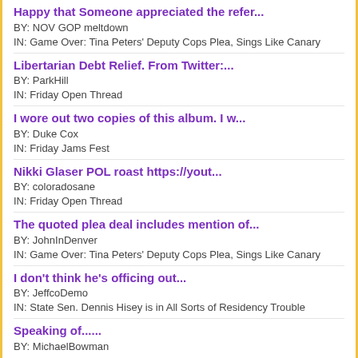Happy that Someone appreciated the refer...
BY: NOV GOP meltdown
IN: Game Over: Tina Peters' Deputy Cops Plea, Sings Like Canary
Libertarian Debt Relief. From Twitter:...
BY: ParkHill
IN: Friday Open Thread
I wore out two copies of this album. I w...
BY: Duke Cox
IN: Friday Jams Fest
Nikki Glaser POL roast https://yout...
BY: coloradosane
IN: Friday Open Thread
The quoted plea deal includes mention of...
BY: JohnInDenver
IN: Game Over: Tina Peters' Deputy Cops Plea, Sings Like Canary
I don't think he's officing out...
BY: JeffcoDemo
IN: State Sen. Dennis Hisey is in All Sorts of Residency Trouble
Speaking of......
BY: MichaelBowman